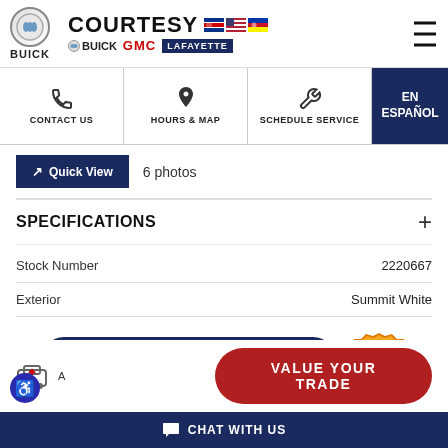[Figure (logo): Buick circular logo with BUICK text below, and Courtesy Buick GMC Lafayette dealership logo with flag icons]
CONTACT US
HOURS & MAP
SCHEDULE SERVICE
EN ESPAÑOL
Quick View  6 photos
SPECIFICATIONS
| Field | Value |
| --- | --- |
| Stock Number | 2220667 |
| Exterior | Summit White |
EXPLORE PAYMENTS
VALUE YOUR TRADE
CHAT WITH US